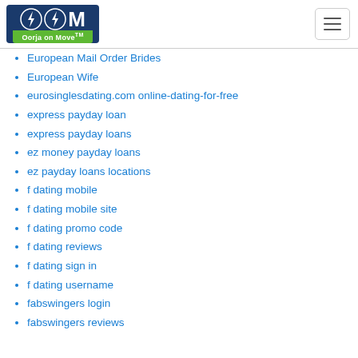Oorja on Move logo and navigation
European Mail Order Brides
European Wife
eurosinglesdating.com online-dating-for-free
express payday loan
express payday loans
ez money payday loans
ez payday loans locations
f dating mobile
f dating mobile site
f dating promo code
f dating reviews
f dating sign in
f dating username
fabswingers login
fabswingers reviews